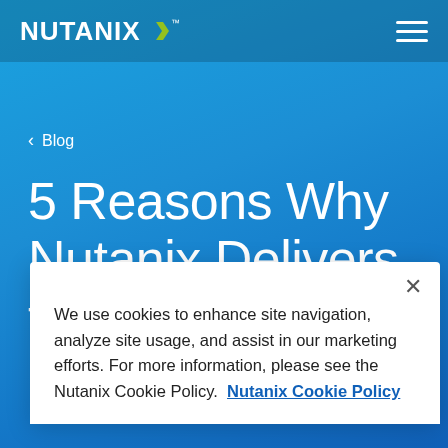NUTANIX [logo] [hamburger menu]
< Blog
5 Reasons Why Nutanix Delivers the
We use cookies to enhance site navigation, analyze site usage, and assist in our marketing efforts. For more information, please see the Nutanix Cookie Policy.  Nutanix Cookie Policy